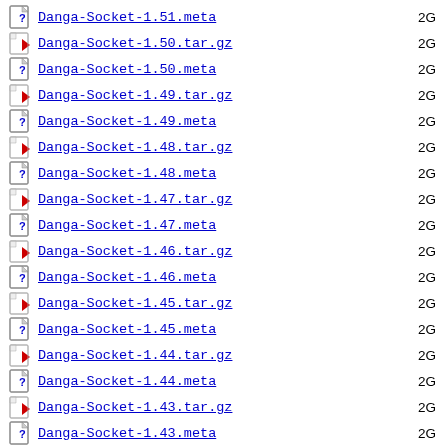Danga-Socket-1.51.meta
Danga-Socket-1.50.tar.gz
Danga-Socket-1.50.meta
Danga-Socket-1.49.tar.gz
Danga-Socket-1.49.meta
Danga-Socket-1.48.tar.gz
Danga-Socket-1.48.meta
Danga-Socket-1.47.tar.gz
Danga-Socket-1.47.meta
Danga-Socket-1.46.tar.gz
Danga-Socket-1.46.meta
Danga-Socket-1.45.tar.gz
Danga-Socket-1.45.meta
Danga-Socket-1.44.tar.gz
Danga-Socket-1.44.meta
Danga-Socket-1.43.tar.gz
Danga-Socket-1.43.meta